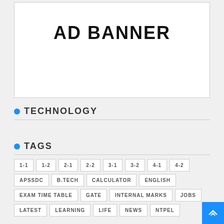[Figure (other): Ad banner placeholder box with text 'AD BANNER']
TECHNOLOGY
TAGS
1-1
1-2
2-1
2-2
3-1
3-2
4-1
4-2
APSSDC
B.TECH
CALCULATOR
ENGLISH
EXAM TIME TABLE
GATE
INTERNAL MARKS
JOBS
LATEST
LEARNING
LIFE
NEWS
NTPEL